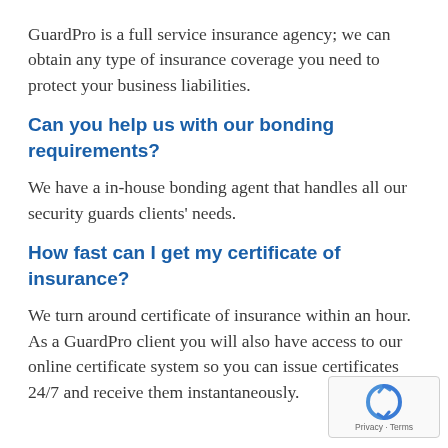GuardPro is a full service insurance agency; we can obtain any type of insurance coverage you need to protect your business liabilities.
Can you help us with our bonding requirements?
We have a in-house bonding agent that handles all our security guards clients' needs.
How fast can I get my certificate of insurance?
We turn around certificate of insurance within an hour. As a GuardPro client you will also have access to our online certificate system so you can issue certificates 24/7 and receive them instantaneously.